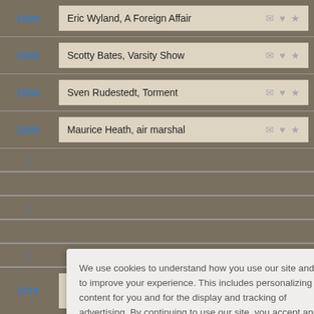1908 — Eric Wyland, A Foreign Affair
1908 — Scotty Bates, Varsity Show
1908 — Sven Rudestedt, Torment
1909 — Maurice Heath, air marshal
We use cookies to understand how you use our site and to improve your experience. This includes personalizing content for you and for the display and tracking of advertising. By continuing to use our site, you accept and agree to our use of cookies. Privacy Policy
1919 — Heinrich Sutermeister, Swiss composer (Romeo & Juliet